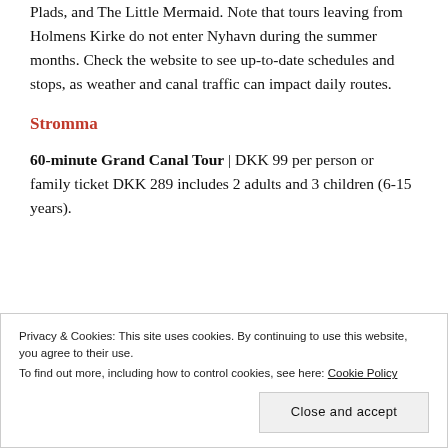Plads, and The Little Mermaid. Note that tours leaving from Holmens Kirke do not enter Nyhavn during the summer months. Check the website to see up-to-date schedules and stops, as weather and canal traffic can impact daily routes.
Stromma
60-minute Grand Canal Tour | DKK 99 per person or family ticket DKK 289 includes 2 adults and 3 children (6-15 years).
Privacy & Cookies: This site uses cookies. By continuing to use this website, you agree to their use. To find out more, including how to control cookies, see here: Cookie Policy